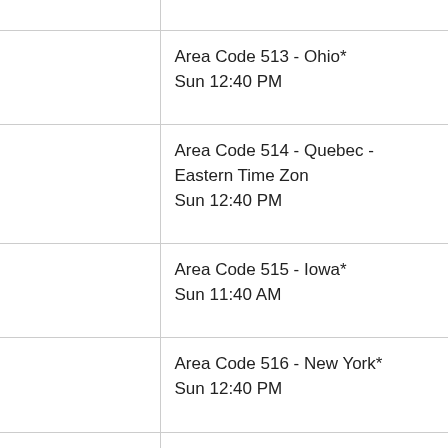Area Code 513 - Ohio*
Sun 12:40 PM
Area Code 514 - Quebec - Eastern Time Zone
Sun 12:40 PM
Area Code 515 - Iowa*
Sun 11:40 AM
Area Code 516 - New York*
Sun 12:40 PM
Area Code 517 - Michigan*
Sun 12:40 PM